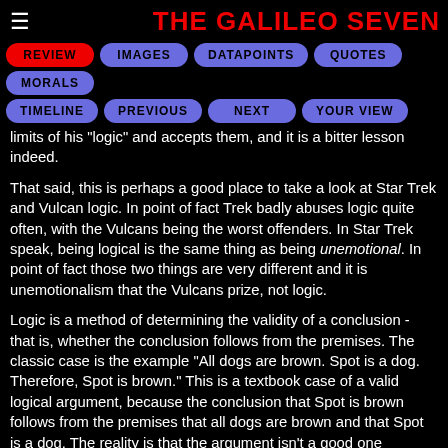THE GALILEO SEVEN
REVIEW
IMAGES
DATAPOINTS
QUOTES
MORALS
TIMELINE
PREVIOUS
NEXT
YOUR VIEW
limits of his "logic" and accepts them, and it is a bitter lesson indeed.
That said, this is perhaps a good place to take a look at Star Trek and Vulcan logic. In point of fact Trek badly abuses logic quite often, with the Vulcans being the worst offenders. In Star Trek speak, being logical is the same thing as being unemotional. In point of fact those two things are very different and it is unemotionalism that the Vulcans prize, not logic.
Logic is a method of determining the validity of a conclusion - that is, whether the conclusion follows from the premises. The classic case is the example "All dogs are brown. Spot is a dog. Therefore, Spot is brown." This is a textbook case of a valid logical argument, because the conclusion that Spot is brown follows from the premises that all dogs are brown and that Spot is a dog. The reality is that the argument isn't a good one because even assuming Spot actually is a dog, it's not actually true that all dogs are brown. Spot may be black,